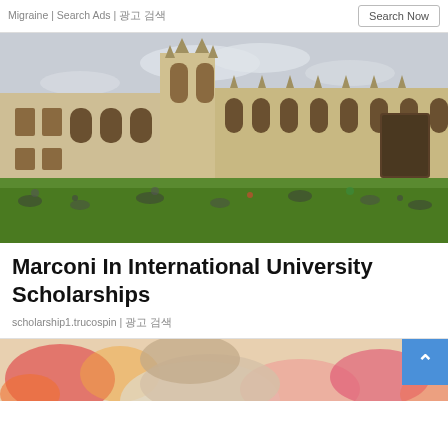Migraine | Search Ads | 광고 검색
[Figure (photo): Gothic university building with stone facade and spires, students sitting on green lawn in foreground]
Marconi In International University Scholarships
scholarship1.trucospin | 광고 검색
[Figure (photo): Partial view of flowers and a person, bottom of page]